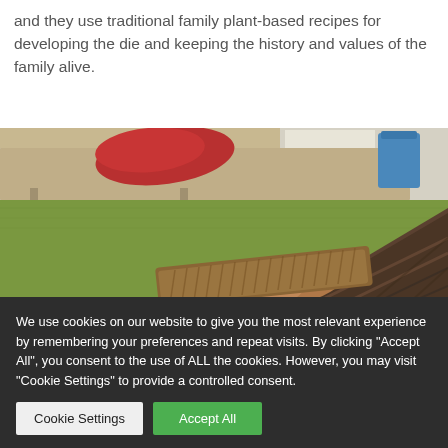and they use traditional family plant-based recipes for developing the die and keeping the history and values of the family alive.
[Figure (photo): A person wearing a plaid/checkered shirt holds a wooden carved object (appears to be a die mold or block with repeated ridged pattern) over a green surface/mat. In the background is a table or shelf with a red cloth and a blue container. The setting appears to be an indoor workshop or home.]
We use cookies on our website to give you the most relevant experience by remembering your preferences and repeat visits. By clicking "Accept All", you consent to the use of ALL the cookies. However, you may visit "Cookie Settings" to provide a controlled consent.